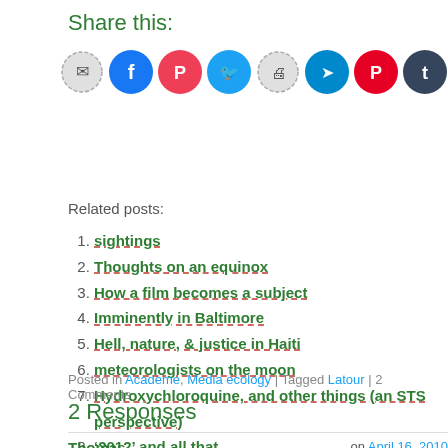Share this:
[Figure (infographic): Row of social share icon buttons: email, facebook, pocket, twitter, print, telegram, pinterest, tumblr, reddit, whatsapp, and a More button]
Related posts:
1. sightings
2. Thoughts on an equinox
3. How a film becomes a subject
4. Imminently in Baltimore
5. Hell, nature, & justice in Haiti
6. meteorologists on the moon
7. Hydroxychloroquine, and other things (an STS perspective)
8. ‘2012’ and all that
Posted in Academe, Media ecology | Tagged Latour | 2 Comments
2 Responses
Thomas on April 16, 2010
I'm very interested in this new form of video. I wonder how much teaching/lea… will start to happen this way.